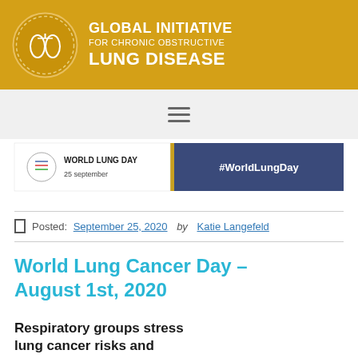GLOBAL INITIATIVE FOR CHRONIC OBSTRUCTIVE LUNG DISEASE
[Figure (screenshot): World Lung Day banner showing '25 september' date and '#WorldLungDay' hashtag on a dark blue background with decorative lung/globe illustration]
Posted: September 25, 2020 by Katie Langefeld
World Lung Cancer Day – August 1st, 2020
Respiratory groups stress lung cancer risks and importance of early